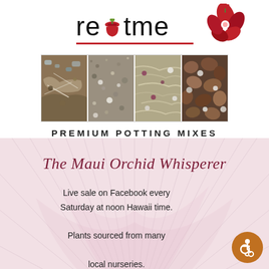[Figure (logo): rePotme logo with red underline and orchid flower graphic on right]
[Figure (photo): Four side-by-side photos of different premium potting mix soil types]
PREMIUM POTTING MIXES
[Figure (illustration): Pink orchid petal background with script text 'The Maui Orchid Whisperer' and body text about live Facebook sales]
The Maui Orchid Whisperer
Live sale on Facebook every Saturday at noon Hawaii time. Plants sourced from many local nurseries.